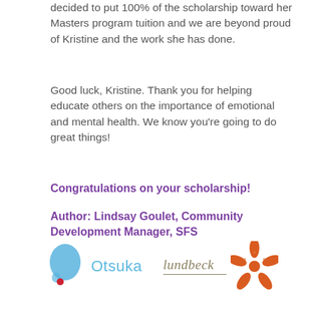decided to put 100% of the scholarship toward her Masters program tuition and we are beyond proud of Kristine and the work she has done.
Good luck, Kristine. Thank you for helping educate others on the importance of emotional and mental health. We know you’re going to do great things!
Congratulations on your scholarship!
Author: Lindsay Goulet, Community Development Manager, SFS
[Figure (logo): Otsuka logo: blue teardrop/bubble shape with red dot, and the word Otsuka in light blue text]
[Figure (logo): Lundbeck logo with orange starfish graphic: cursive Lundbeck text with a horizontal line, paired with an orange starfish shape]